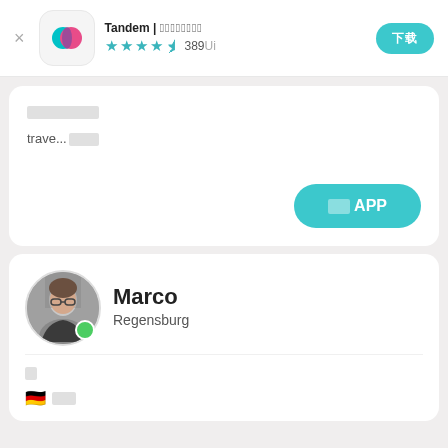[Figure (screenshot): Tandem app header with icon, title 'Tandem | 언어교환 파트너 찾기', star rating 4.5 stars with 389개 reviews, and a teal action button]
언어교환앱란?
trave...더보기
앱열기APP
Marco
Regensburg
🇩🇪 모국어